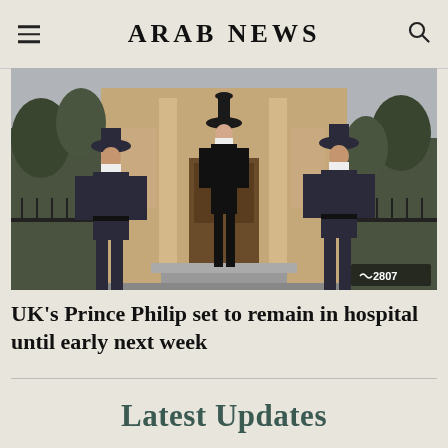ARAB NEWS
[Figure (photo): Three people standing in front of a building entrance. Two police officers in dark uniforms and masks flank a man in a black coat and top hat, also wearing a mask. The scene is outdoors with trees and iron railings visible.]
UK’s Prince Philip set to remain in hospital until early next week
Latest Updates